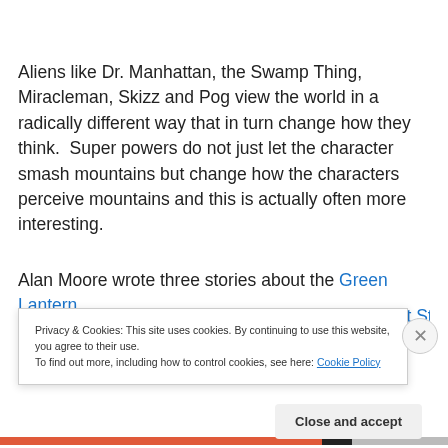Aliens like Dr. Manhattan, the Swamp Thing, Miracleman, Skizz and Pog view the world in a radically different way that in turn change how they think.  Super powers do not just let the character smash mountains but change how the characters perceive mountains and this is actually often more interesting.
Alan Moore wrote three stories about the Green Lantern Corps for DC Comics, including the story "Blackest Star"
Privacy & Cookies: This site uses cookies. By continuing to use this website, you agree to their use.
To find out more, including how to control cookies, see here: Cookie Policy
Close and accept